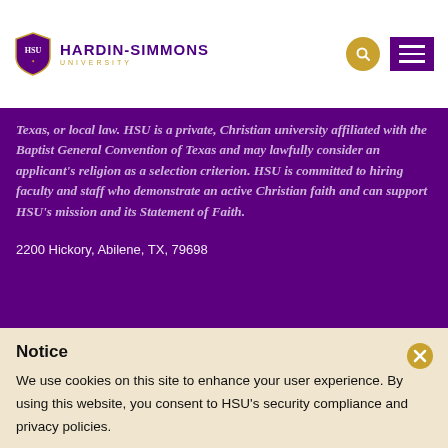Hardin-Simmons University
Texas, or local law. HSU is a private, Christian university affiliated with the Baptist General Convention of Texas and may lawfully consider an applicant's religion as a selection criterion. HSU is committed to hiring faculty and staff who demonstrate an active Christian faith and can support HSU's mission and its Statement of Faith.
2200 Hickory, Abilene, TX, 79698
Notice
We use cookies on this site to enhance your user experience. By using this website, you consent to HSU's security compliance and privacy policies.